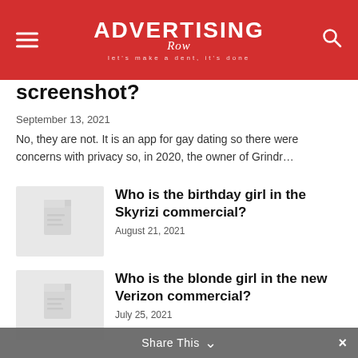ADVERTISING Row — let's make a dent, it's done
screenshot?
September 13, 2021
No, they are not. It is an app for gay dating so there were concerns with privacy so, in 2020, the owner of Grindr...
Who is the birthday girl in the Skyrizi commercial?
August 21, 2021
Who is the blonde girl in the new Verizon commercial?
July 25, 2021
Infographic : Using Cognitive Functions To Unlock the ENFP Personality Type's Unique Gifts
June 12, 2019
Share This